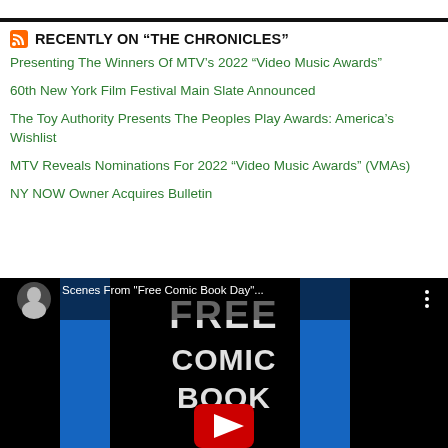RECENTLY ON “THE CHRONICLES”
Presenting The Winners Of MTV’s 2022 “Video Music Awards”
60th New York Film Festival Main Slate Announced
The Toy Authority Presents The Peoples Play Awards: America’s Wishlist
MTV Reveals Nominations For 2022 “Video Music Awards” (VMAs)
NY NOW Owner Acquires Bulletin
[Figure (screenshot): YouTube video thumbnail showing 'Scenes From "Free Comic Book Day"...' with FREE COMIC BOOK text visible and a play button overlay. A user avatar is shown in the top-left corner.]